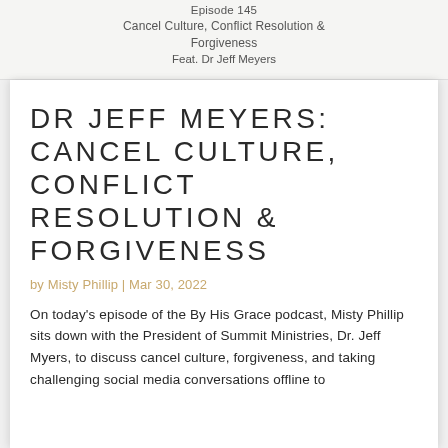Episode 145
Cancel Culture, Conflict Resolution & Forgiveness
Feat. Dr Jeff Meyers
DR JEFF MEYERS: CANCEL CULTURE, CONFLICT RESOLUTION & FORGIVENESS
by Misty Phillip | Mar 30, 2022
On today's episode of the By His Grace podcast, Misty Phillip sits down with the President of Summit Ministries, Dr. Jeff Myers, to discuss cancel culture, forgiveness, and taking challenging social media conversations offline to